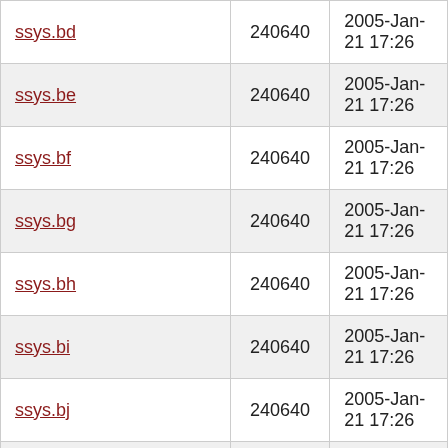| ssys.bd | 240640 | 2005-Jan-21 17:26 |
| ssys.be | 240640 | 2005-Jan-21 17:26 |
| ssys.bf | 240640 | 2005-Jan-21 17:26 |
| ssys.bg | 240640 | 2005-Jan-21 17:26 |
| ssys.bh | 240640 | 2005-Jan-21 17:26 |
| ssys.bi | 240640 | 2005-Jan-21 17:26 |
| ssys.bj | 240640 | 2005-Jan-21 17:26 |
| ssys.bk | 240640 | 2005-Jan-21 17:26 |
| ssys.bl | 240640 | 2005-Jan-21 17:26 |
| ssys.bm | 240640 | 2005-Jan-21 17:26 |
| ssys.bn | 240640 | 2005-Jan-21 17:26 |
| ssys.bo (partial) | 240640 | 2005-Jan- |